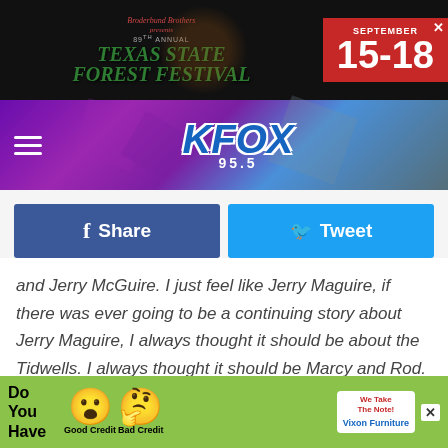[Figure (screenshot): Top banner advertisement for Texas State Forest Festival, September 15-18]
[Figure (logo): KFOX 95.5 radio station header with purple geometric background and hamburger menu]
[Figure (screenshot): Facebook Share and Twitter Tweet social sharing buttons]
and Jerry McGuire. I just feel like Jerry Maguire, if there was ever going to be a continuing story about Jerry Maguire, I always thought it should be about the Tidwells. I always thought it should be Marcy and Rod. From time to time, people have called up and said 'We want to do a TV show of Jerry Maguire,' and I'll say, 'You know, I think that story continues with the Tidwells,' and they never call back. You
[Figure (screenshot): Bottom advertisement for Dixon Furniture featuring good credit and bad credit emoji faces on green background]